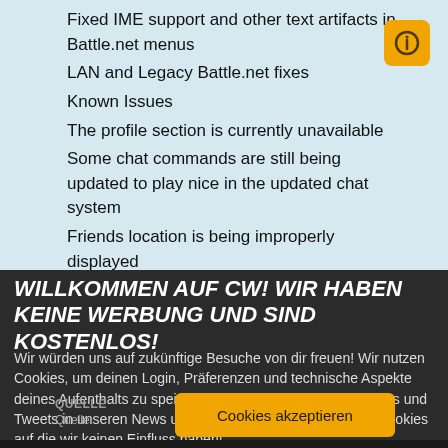Fixed IME support and other text artifacts in Battle.net menus
LAN and Legacy Battle.net fixes
Known Issues
The profile section is currently unavailable
Some chat commands are still being updated to play nice in the updated chat system
Friends location is being improperly displayed
Password games will often return bad password trying to join
WILLKOMMEN AUF CW! WIR HABEN KEINE WERBUNG UND SIND KOSTENLOS!
Wir würden uns auf zukünftige Besuche von dir freuen! Wir nutzen Cookies, um deinen Login, Präferenzen und technische Aspekte deines Aufenthalts zu speichern. Eingebettete Youtube-Videos und Tweets in unseren News und Inhalten setzen ihre eigenen Cookies auf die wir keinen Einfluss haben!
QUELLE
Quelle:
Cookies akzeptieren